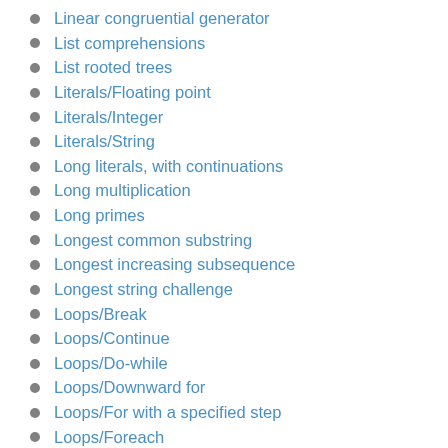Linear congruential generator
List comprehensions
List rooted trees
Literals/Floating point
Literals/Integer
Literals/String
Long literals, with continuations
Long multiplication
Long primes
Longest common substring
Longest increasing subsequence
Longest string challenge
Loops/Break
Loops/Continue
Loops/Do-while
Loops/Downward for
Loops/For with a specified step
Loops/Foreach
Loops/Increment loop index within loop body
Loops/Infinite
Loops/N plus one half
Loops/Nested
Loops/While